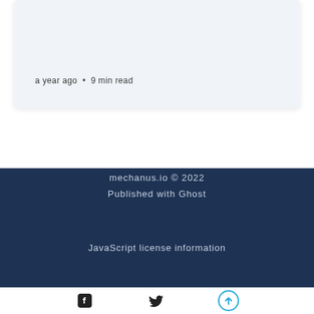a year ago  •  9 min read
mechanus.io © 2022
Published with Ghost
JavaScript license information
Facebook icon, Twitter icon, Up arrow icon